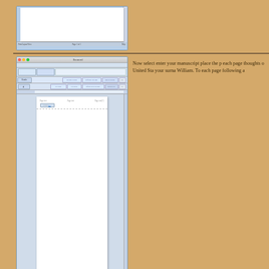[Figure (screenshot): Microsoft Word screenshot showing a document with a header area visible at top, partially visible (cropped top portion of window)]
[Figure (screenshot): Microsoft Word screenshot on Mac OS X showing the Headers and Footers toolbar with a blank document page visible, showing three header fields]
Now select enter your manuscript place the p each page thoughts o United Sta your surna William. To each page following a
[Figure (screenshot): Microsoft Word screenshot showing a document in Compatibility Mode with toolbars visible]
Once you'v opus, chec This allows containing